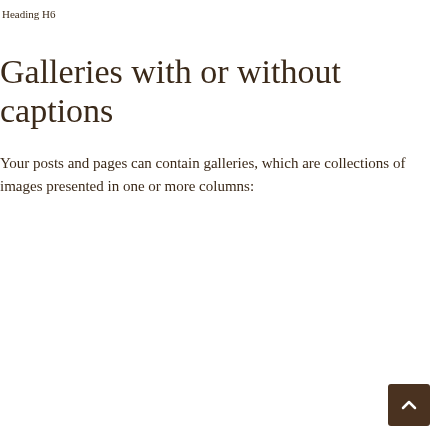Heading H6
Galleries with or without captions
Your posts and pages can contain galleries, which are collections of images presented in one or more columns:
[Figure (other): Back to top button — dark brown square with upward-pointing chevron arrow]